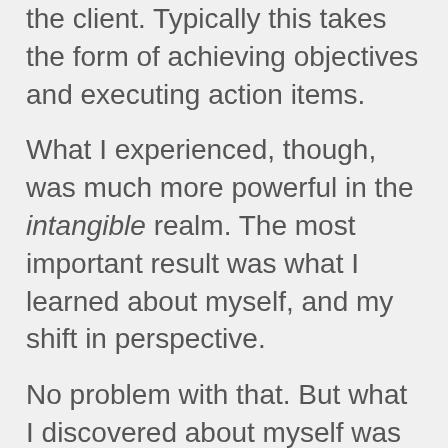the client. Typically this takes the form of achieving objectives and executing action items.
What I experienced, though, was much more powerful in the intangible realm. The most important result was what I learned about myself, and my shift in perspective.
No problem with that. But what I discovered about myself was that I tend to skip over celebrating the client's progress on the intangible dimensions. Depending on the client's focus, we might be missing the most important value